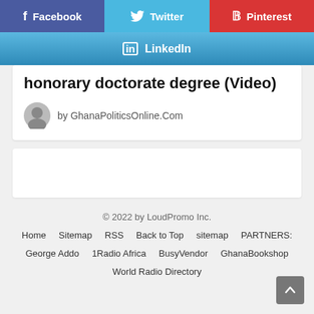[Figure (other): Social share buttons: Facebook (blue-purple), Twitter (light blue), Pinterest (red), LinkedIn (blue gradient bar)]
honorary doctorate degree (Video)
by GhanaPoliticsOnline.Com
[Figure (other): Advertisement box (white rectangle)]
© 2022 by LoudPromo Inc.
Home   Sitemap   RSS   Back to Top   sitemap   PARTNERS:   George Addo   1Radio Africa   BusyVendor   GhanaBookshop   World Radio Directory